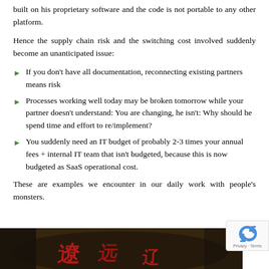built on his proprietary software and the code is not portable to any other platform.
Hence the supply chain risk and the switching cost involved suddenly become an unanticipated issue:
If you don't have all documentation, reconnecting existing partners means risk
Processes working well today may be broken tomorrow while your partner doesn't understand: You are changing, he isn't: Why should he spend time and effort to re/implement?
You suddenly need an IT budget of probably 2-3 times your annual fees + internal IT team that isn't budgeted, because this is now budgeted as SaaS operational cost.
These are examples we encounter in our daily work with people's monsters.
[Figure (photo): Dark image with red markings, partially visible at the bottom of the page]